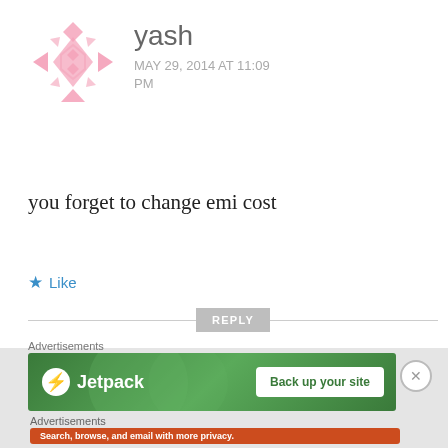[Figure (illustration): Pink geometric avatar/icon with diamond and arrow shapes]
yash
MAY 29, 2014 AT 11:09 PM
you forget to change emi cost
★ Like
REPLY
Advertisements
[Figure (screenshot): Jetpack advertisement banner with green background: logo on left, 'Back up your site' button on right]
Advertisements
[Figure (screenshot): DuckDuckGo advertisement on orange-red background: 'Search, browse, and email with more privacy. All in One Free App' with phone mockup showing DuckDuckGo logo]